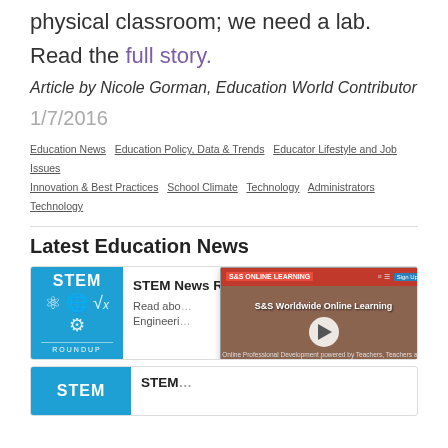physical classroom; we need a lab.
Read the full story.
Article by Nicole Gorman, Education World Contributor
1/7/2016
Education News   Education Policy, Data & Trends   Educator Lifestyle and Job Issues   Innovation & Best Practices   School Climate   Technology   Administrators   Technology
Latest Education News
[Figure (screenshot): STEM News Roundup card with blue STEM logo thumbnail and text 'STEM News Roundup: Fenw... STEM...' with description 'Read abo... Engineeri...']
[Figure (screenshot): S&S Worldwide Online Learning video overlay showing a play button and progress bar]
[Figure (screenshot): Second STEM card partially visible at bottom]